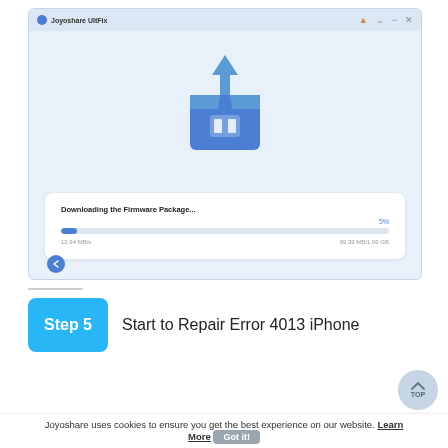[Figure (screenshot): Joyoshare UltFix application window showing firmware package download in progress at 5%, with a download box icon, progress bar showing 5%, speed 12.94 MB/s, and size 89.39 MB/1.06 GB]
Step 5   Start to Repair Error 4013 iPhone
Joyoshare uses cookies to ensure you get the best experience on our website. Learn More  Got it!